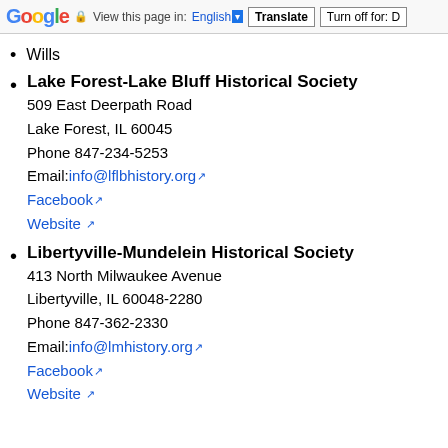Google | View this page in: English | Translate | Turn off for: D
Wills
Lake Forest-Lake Bluff Historical Society
509 East Deerpath Road
Lake Forest, IL 60045
Phone 847-234-5253
Email: info@lflbhistory.org
Facebook
Website
Libertyville-Mundelein Historical Society
413 North Milwaukee Avenue
Libertyville, IL 60048-2280
Phone 847-362-2330
Email: info@lmhistory.org
Facebook
Website